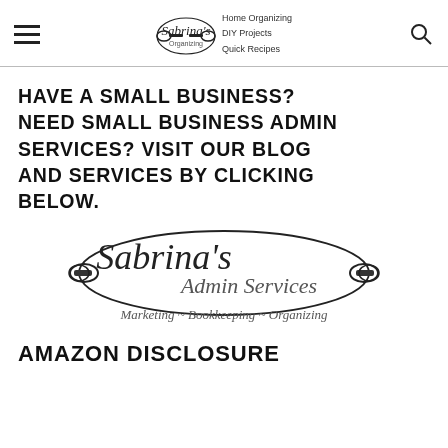Sabrina's Organizing — Home Organizing, DIY Projects, Quick Recipes
HAVE A SMALL BUSINESS? NEED SMALL BUSINESS ADMIN SERVICES? VISIT OUR BLOG AND SERVICES BY CLICKING BELOW.
[Figure (logo): Sabrina's Admin Services logo — Marketing ~ Bookkeeping ~ Organizing]
AMAZON DISCLOSURE